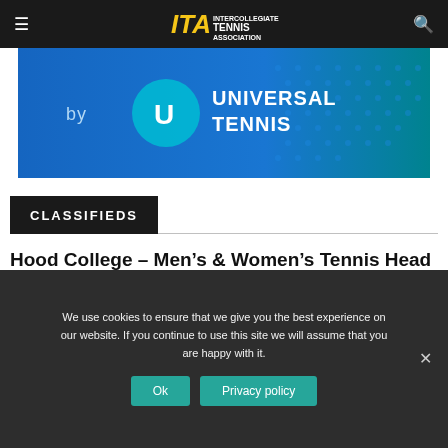ITA – Intercollegiate Tennis Association
[Figure (illustration): Universal Tennis advertisement banner – blue background with 'by Universal Tennis' text and logo]
CLASSIFIEDS
Hood College – Men's & Women's Tennis Head Coach
ITA Classifieds – September 1, 2022
We use cookies to ensure that we give you the best experience on our website. If you continue to use this site we will assume that you are happy with it.